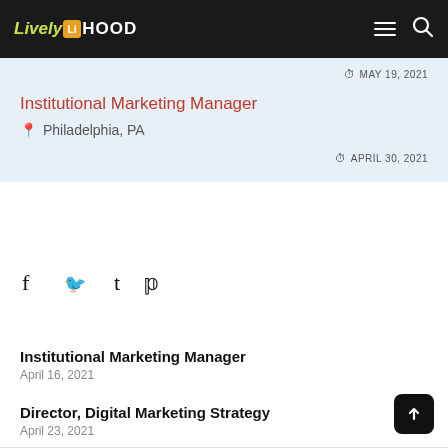LivelyHOOD
MAY 19, 2021
Institutional Marketing Manager
Philadelphia, PA
APRIL 30, 2021
[Figure (other): Social share icons: Facebook (f), Twitter (bird), Tumblr (t), Pinterest (P)]
Institutional Marketing Manager
April 16, 2021
Director, Digital Marketing Strategy
April 23, 2021